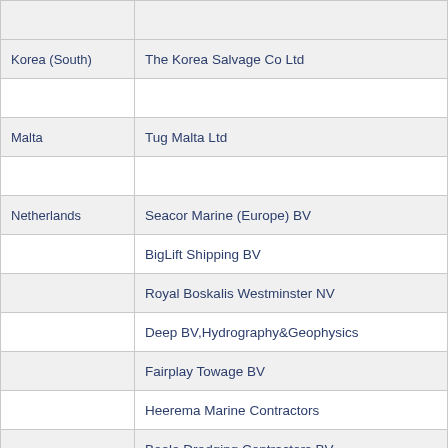| Country | Company |
| --- | --- |
|  |  |
| Korea (South) | The Korea Salvage Co Ltd |
|  |  |
| Malta | Tug Malta Ltd |
|  |  |
| Netherlands | Seacor Marine (Europe) BV |
|  | BigLift Shipping BV |
|  | Royal Boskalis Westminster NV |
|  | Deep BV,Hydrography&Geophysics |
|  | Fairplay Towage BV |
|  | Heerema Marine Contractors |
|  | Boele Dredging Contractors BV |
|  | MCS International Marine Svcs |
|  | Multraship Towage & Salvage |
|  | Smit Salvage |
|  |  |